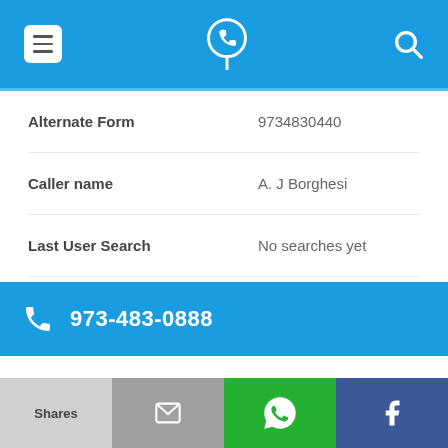[Figure (screenshot): Mobile app top navigation bar with menu icon, phone/location logo icon, and search icon on blue background]
| Alternate Form | 9734830440 |
| Caller name | A. J Borghesi |
| Last User Search | No searches yet |
| Comments | 0 |
973-483-0888
| Alternate Form | 9734830888 |
[Figure (screenshot): Bottom action bar with four buttons: Shares (light gray), Email envelope icon (gray), WhatsApp icon (green), Facebook f icon (dark blue)]